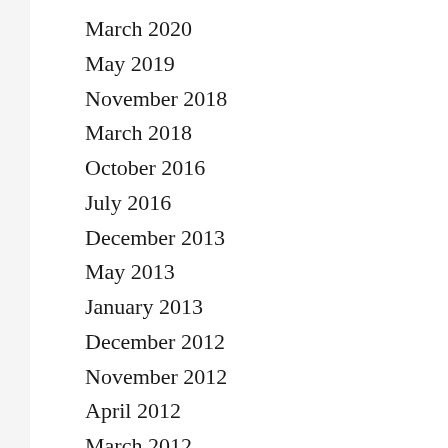March 2020
May 2019
November 2018
March 2018
October 2016
July 2016
December 2013
May 2013
January 2013
December 2012
November 2012
April 2012
March 2012
February 2012
January 2012
December 2011
November 2011
October 2011